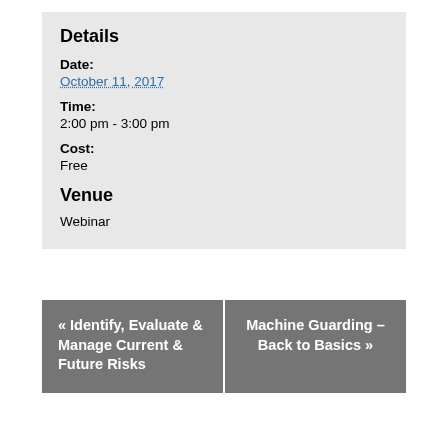Details
Date:
October 11, 2017
Time:
2:00 pm - 3:00 pm
Cost:
Free
Venue
Webinar
« Identify, Evaluate & Manage Current & Future Risks
Machine Guarding – Back to Basics »